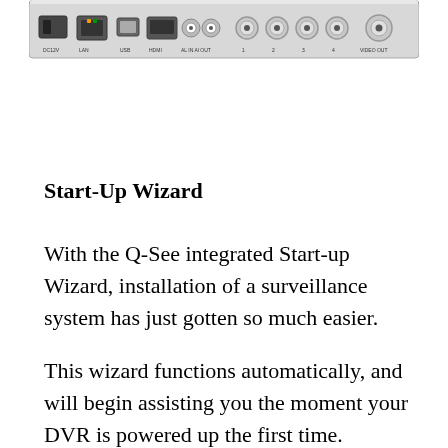[Figure (photo): Rear panel of a DVR device showing ports: DC12V, LAN, USB, HDMI, audio in/out, and BNC video connectors labeled 1-4]
Start-Up Wizard
With the Q-See integrated Start-up Wizard, installation of a surveillance system has just gotten so much easier.
This wizard functions automatically, and will begin assisting you the moment your DVR is powered up the first time.